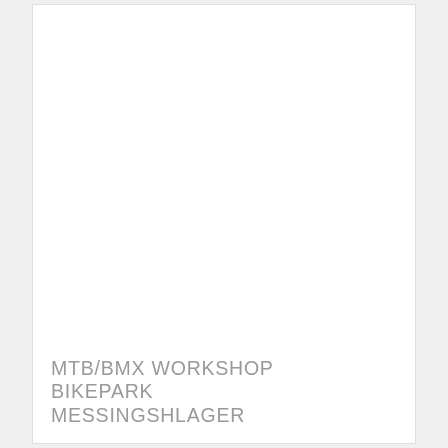[Figure (photo): Large white/blank photo area taking up the upper portion of the card]
MTB/BMX WORKSHOP BIKEPARK MESSINGSHLAGER